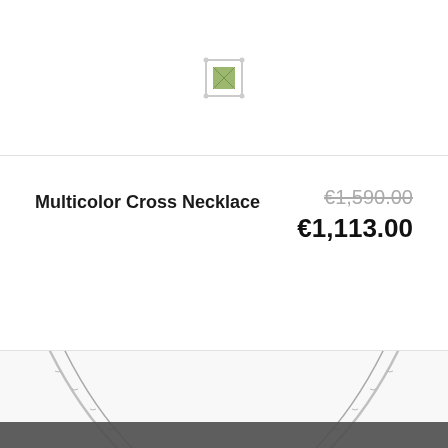[Figure (photo): Small jewelry pendant with green gemstone in silver setting, shown at top of page]
Multicolor Cross Necklace
€1,590.00 €1,113.00
[Figure (photo): Silver chain necklace with V-shape hanging, close-up photograph]
We have placed cookies on your computer to help make this website better. We use a Google Analytics script which sets cookies. More details can be found in our privacy policy
close